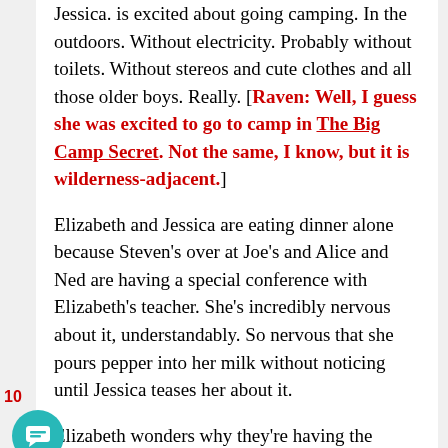Jessica. is excited about going camping. In the outdoors. Without electricity. Probably without toilets. Without stereos and cute clothes and all those older boys. Really. [Raven: Well, I guess she was excited to go to camp in The Big Camp Secret. Not the same, I know, but it is wilderness-adjacent.]

Elizabeth and Jessica are eating dinner alone because Steven's over at Joe's and Alice and Ned are having a special conference with Elizabeth's teacher. She's incredibly nervous about it, understandably. So nervous that she pours pepper into her milk without noticing until Jessica teases her about it.

Elizabeth wonders why they're having the